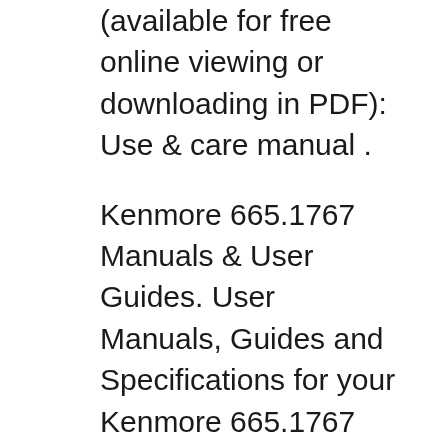(available for free online viewing or downloading in PDF): Use & care manual .
Kenmore 665.1767 Manuals & User Guides. User Manuals, Guides and Specifications for your Kenmore 665.1767 Dishwasher. Database contains 1 Kenmore 665.1767 Manuals (available for free online viewing or downloading in PDF): Use and care manual . Kenmore 665.1767 Manuals & User Guides. User Manuals, Guides and Specifications for your Kenmore 665.1767 Dishwasher. Database contains 1 Kenmore 665.1767 Manuals (available for free online viewing or downloading in PDF): Use and care